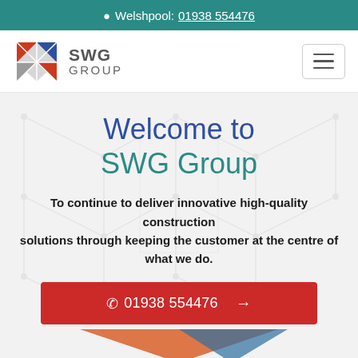📍 Welshpool: 01938 554476
[Figure (logo): SWG Group logo with geometric diamond pattern in red, blue, orange, and gray triangles, next to text 'SWG GROUP']
Welcome to SWG Group
To continue to deliver innovative high-quality construction solutions through keeping the customer at the centre of what we do.
☎ 01938 554476 →
[Figure (illustration): Orange and blue downward-pointing triangle decorative elements at the bottom]